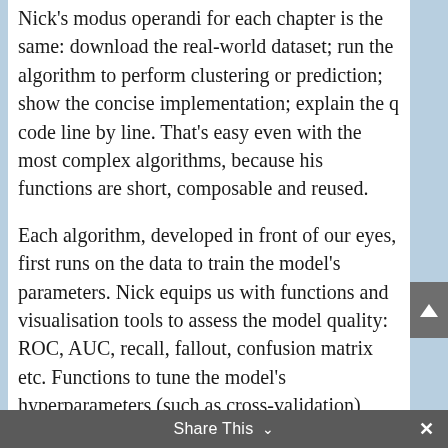Nick's modus operandi for each chapter is the same: download the real-world dataset; run the algorithm to perform clustering or prediction; show the concise implementation; explain the q code line by line. That's easy even with the most complex algorithms, because his functions are short, composable and reused.
Each algorithm, developed in front of our eyes, first runs on the data to train the model's parameters. Nick equips us with functions and visualisation tools to assess the model quality: ROC, AUC, recall, fallout, confusion matrix etc. Functions to tune the model's hyperparameters (such as cross-validation) reappear at the end of the chapters. If different variations of the same algorithm exist, Nick exposes their
Share This ∨   ×